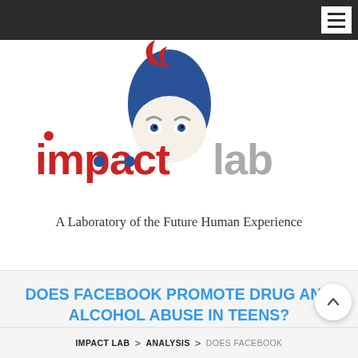Impact Lab navigation bar with hamburger menu
[Figure (logo): Impact Lab logo: stylized cartoon boy with blue hair, red and grey text reading 'impact lab', tagline 'A Laboratory of the Future Human Experience']
DOES FACEBOOK PROMOTE DRUG AND ALCOHOL ABUSE IN TEENS?
IMPACT LAB > ANALYSIS > DOES FACEBOOK